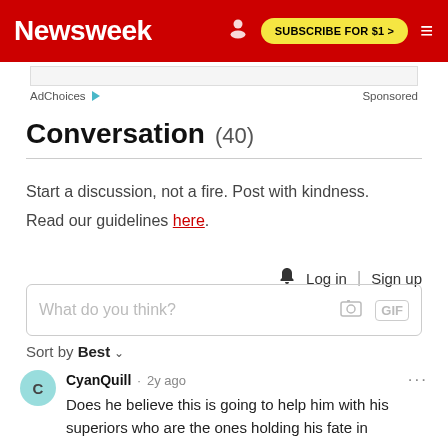Newsweek | SUBSCRIBE FOR $1 >
AdChoices  Sponsored
Conversation (40)
Start a discussion, not a fire. Post with kindness. Read our guidelines here.
Log in | Sign up
What do you think?
Sort by Best
CyanQuill · 2y ago
Does he believe this is going to help him with his superiors who are the ones holding his fate in